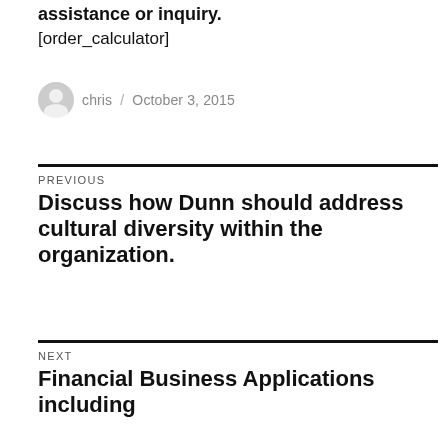assistance or inquiry.
[order_calculator]
chris / October 3, 2015
PREVIOUS
Discuss how Dunn should address cultural diversity within the organization.
NEXT
Financial Business Applications including